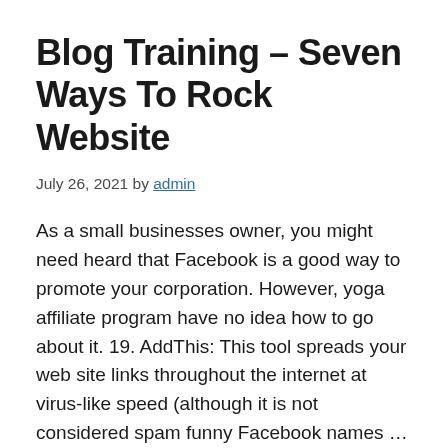Blog Training – Seven Ways To Rock Website
July 26, 2021 by admin
As a small businesses owner, you might need heard that Facebook is a good way to promote your corporation. However, yoga affiliate program have no idea how to go about it. 19. AddThis: This tool spreads your web site links throughout the internet at virus-like speed (although it is not considered spam funny Facebook names …
Read more